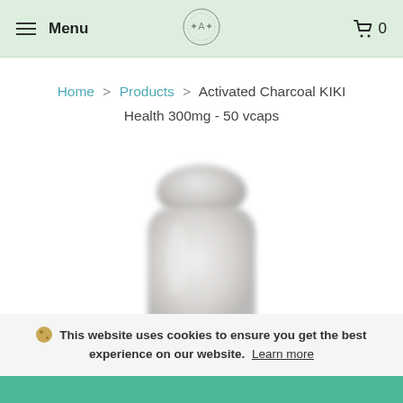Menu  0
Home > Products > Activated Charcoal KIKI Health 300mg - 50 vcaps
[Figure (photo): A blurred/frosted white plastic supplement bottle with no visible label, centered on white background.]
This website uses cookies to ensure you get the best experience on our website. Learn more